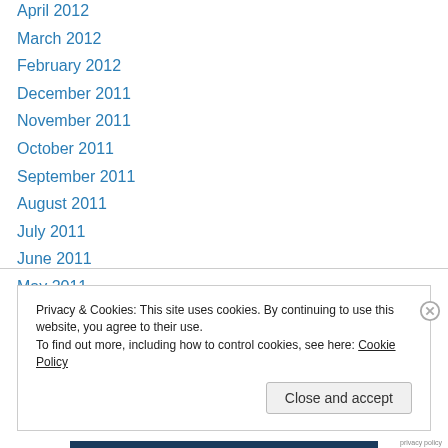April 2012
March 2012
February 2012
December 2011
November 2011
October 2011
September 2011
August 2011
July 2011
June 2011
May 2011
Privacy & Cookies: This site uses cookies. By continuing to use this website, you agree to their use. To find out more, including how to control cookies, see here: Cookie Policy
Close and accept